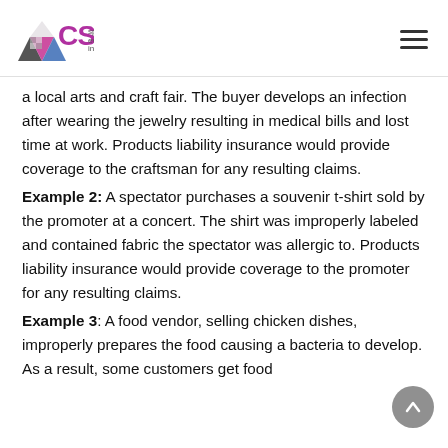CSI special event insurance
a local arts and craft fair. The buyer develops an infection after wearing the jewelry resulting in medical bills and lost time at work. Products liability insurance would provide coverage to the craftsman for any resulting claims.
Example 2: A spectator purchases a souvenir t-shirt sold by the promoter at a concert. The shirt was improperly labeled and contained fabric the spectator was allergic to. Products liability insurance would provide coverage to the promoter for any resulting claims.
Example 3: A food vendor, selling chicken dishes, improperly prepares the food causing a bacteria to develop. As a result, some customers get food